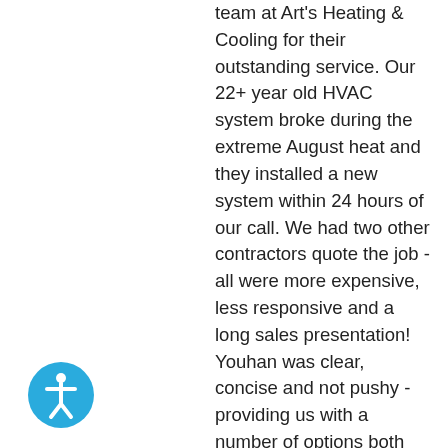team at Art's Heating & Cooling for their outstanding service. Our 22+ year old HVAC system broke during the extreme August heat and they installed a new system within 24 hours of our call. We had two other contractors quote the job - all were more expensive, less responsive and a long sales presentation! Youhan was clear, concise and not pushy - providing us with a number of options both for pricing and performance. Having no knowledge of HVAC systems, I felt educated and in good hands with Art's Heating & Cooling. Trustworthy, professional and very knowledgeable. Our new system is wonderful and the after care has been timely and easy. From permit application to Title 24 inspection, Art's Heating & Cooling co-ordinated everything. Small local
[Figure (other): Blue circular accessibility icon button with a white person figure inside, located at the bottom left of the page.]